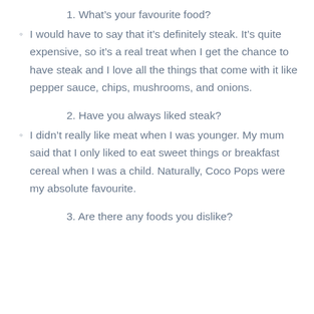1. What's your favourite food?
I would have to say that it's definitely steak. It's quite expensive, so it's a real treat when I get the chance to have steak and I love all the things that come with it like pepper sauce, chips, mushrooms, and onions.
2. Have you always liked steak?
I didn't really like meat when I was younger. My mum said that I only liked to eat sweet things or breakfast cereal when I was a child. Naturally, Coco Pops were my absolute favourite.
3. Are there any foods you dislike?